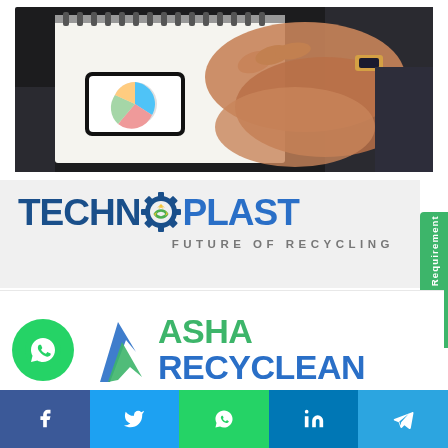[Figure (photo): Person holding a smartphone showing a pie chart, with a spiral notebook open in the background on a dark desk surface.]
[Figure (logo): TECHNOPLAST logo with gear and recycling icon in the O, tagline FUTURE OF RECYCLING, on light gray background.]
[Figure (logo): ASHA RECYCLEAN logo with blue-green mountain/arrow icon, WhatsApp green circle button on left side.]
[Figure (infographic): Social media share bar with Facebook, Twitter, WhatsApp, LinkedIn, and Telegram icons.]